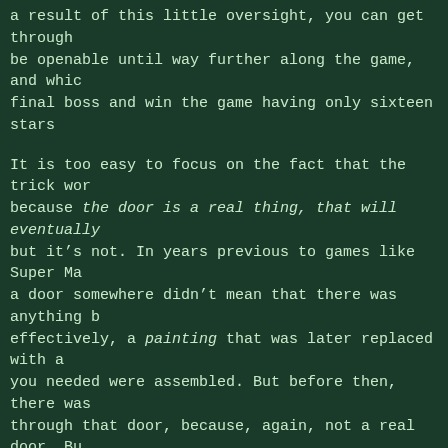a result of this little oversight, you can get through be openable until way further along the game, and whic final boss and win the game having only sixteen stars
It is too easy to focus on the fact that the trick wor because the door is a real thing, that will eventually but it’s not. In years previous to games like Super Ma a door somewhere didn’t mean that there was anything b effectively, a painting that was later replaced with a you needed were assembled. But before then, there was through that door, because, again, not a real door. Bu means that there was a working set of rooms, all funct was only the addition of new powers or the ability to access to this persistent environment. This is both mi thing in the world.
The sixteen-star hack was amazing. But then someone di
To do it in one star, they had to depend on an interes where if you jammed little mario in a strange location the it old like his into the since of the